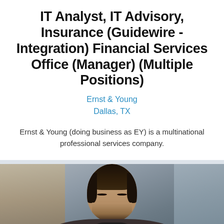IT Analyst, IT Advisory, Insurance (Guidewire -Integration) Financial Services Office (Manager) (Multiple Positions)
Ernst & Young
Dallas, TX
Ernst & Young (doing business as EY) is a multinational professional services company.
[Figure (photo): Photo of a young man with dark hair and beard, looking downward, wearing a dark top, holding something, in an office environment]